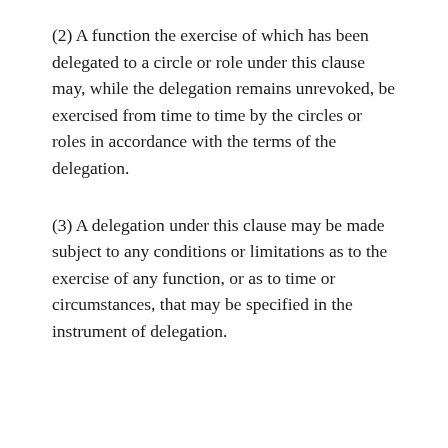(2) A function the exercise of which has been delegated to a circle or role under this clause may, while the delegation remains unrevoked, be exercised from time to time by the circles or roles in accordance with the terms of the delegation.
(3) A delegation under this clause may be made subject to any conditions or limitations as to the exercise of any function, or as to time or circumstances, that may be specified in the instrument of delegation.